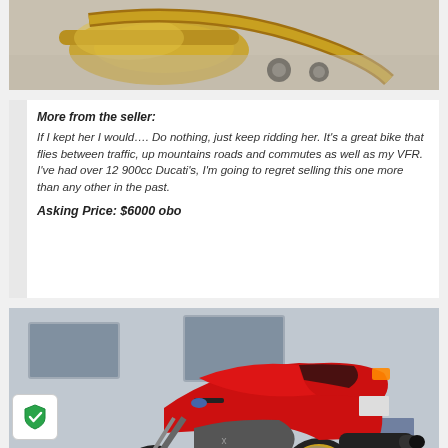[Figure (photo): Close-up photo of a brass instrument (tuba or similar) on a concrete surface, with wheels visible]
More from the seller:
If I kept her I would…. Do nothing, just keep ridding her. It's a great bike that flies between traffic, up mountains roads and commutes as well as my VFR. I've had over 12 900cc Ducati's, I'm going to regret selling this one more than any other in the past.

Asking Price: $6000 obo
[Figure (photo): Red Ducati motorcycle parked in front of a gray/blue stucco building, rear three-quarter view showing gold wheels and black exhaust]
[Figure (logo): Green shield checkmark security/trust icon in a white rounded rectangle]